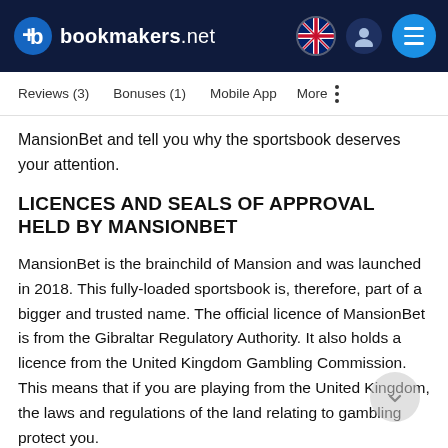bookmakers.net
Reviews (3)   Bonuses (1)   Mobile App   More
MansionBet and tell you why the sportsbook deserves your attention.
LICENCES AND SEALS OF APPROVAL HELD BY MANSIONBET
MansionBet is the brainchild of Mansion and was launched in 2018. This fully-loaded sportsbook is, therefore, part of a bigger and trusted name. The official licence of MansionBet is from the Gibraltar Regulatory Authority. It also holds a licence from the United Kingdom Gambling Commission. This means that if you are playing from the United Kingdom, the laws and regulations of the land relating to gambling protect you.
As you may already know, the UK Gambling Commission